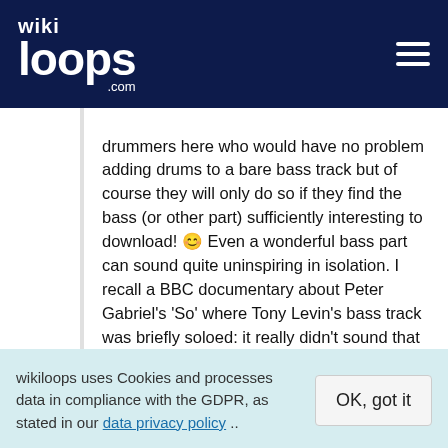wikiloops.com
drummers here who would have no problem adding drums to a bare bass track but of course they will only do so if they find the bass (or other part) sufficiently interesting to download! 😊 Even a wonderful bass part can sound quite uninspiring in isolation. I recall a BBC documentary about Peter Gabriel's 'So' where Tony Levin's bass track was briefly soloed: it really didn't sound that great on it's own but in context you couldn't imagine anything else being played! To be honest, even as a bass player I prefer to wait until I see a remix with both drums and chords before I jump it, in order to give context (or to use Dick's excellent phrase, to 'explain' what I'm trying to do).
wikiloops uses Cookies and processes data in compliance with the GDPR, as stated in our data privacy policy ..